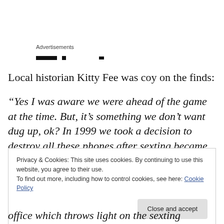Advertisements
[Figure (other): Advertisement placeholder bars/dashes]
Local historian Kitty Fee was coy on the finds:
“Yes I was aware we were ahead of the game at the time. But, it’s something we don’t want dug up, ok? In 1999 we took a decision to destroy all these phones after sexting became rife in the town. Men and women were sending
Privacy & Cookies: This site uses cookies. By continuing to use this website, you agree to their use.
To find out more, including how to control cookies, see here: Cookie Policy
Close and accept
office which throws light on the sexting debacle that